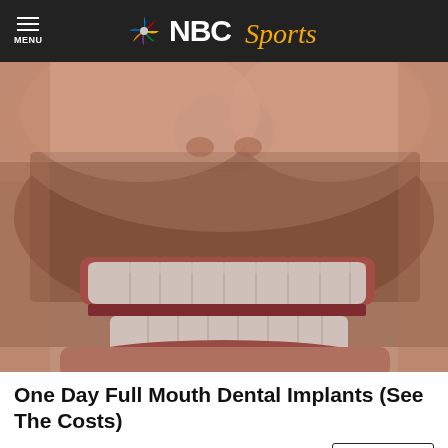NBC Sports
[Figure (photo): Close-up photo of a man smiling showing white dental implants/teeth with stubble beard]
One Day Full Mouth Dental Implants (See The Costs)
Dental Implants | Search Ads
Search Now